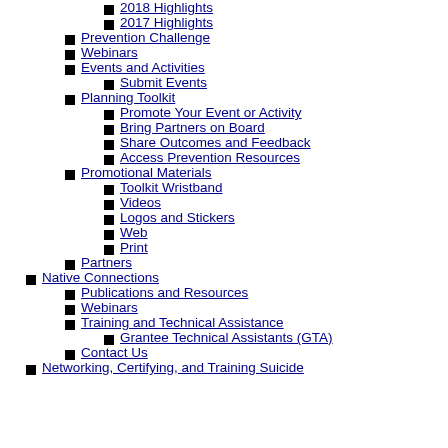2018 Highlights
2017 Highlights
Prevention Challenge
Webinars
Events and Activities
Submit Events
Planning Toolkit
Promote Your Event or Activity
Bring Partners on Board
Share Outcomes and Feedback
Access Prevention Resources
Promotional Materials
Toolkit Wristband
Videos
Logos and Stickers
Web
Print
Partners
Native Connections
Publications and Resources
Webinars
Training and Technical Assistance
Grantee Technical Assistants (GTA)
Contact Us
Networking, Certifying, and Training Suicide